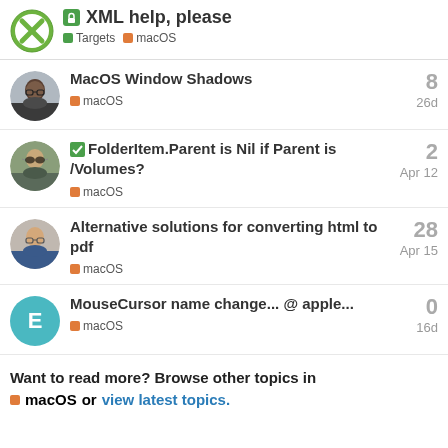XML help, please — Targets macOS
MacOS Window Shadows
macOS  8  26d
FolderItem.Parent is Nil if Parent is /Volumes?
macOS  2  Apr 12
Alternative solutions for converting html to pdf
macOS  28  Apr 15
MouseCursor name change... @ apple...
macOS  0  16d
Want to read more? Browse other topics in macOS or view latest topics.